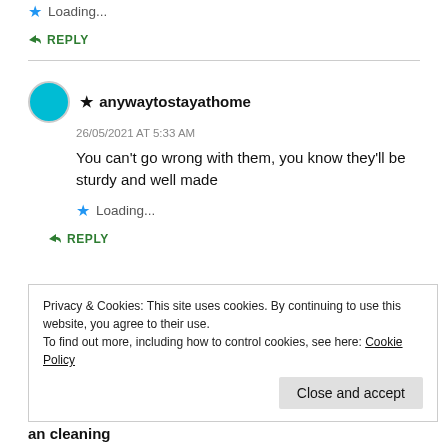Loading...
↪ REPLY
★ anywaytostayathome
26/05/2021 AT 5:33 AM
You can't go wrong with them, you know they'll be sturdy and well made
Loading...
↪ REPLY
Privacy & Cookies: This site uses cookies. By continuing to use this website, you agree to their use.
To find out more, including how to control cookies, see here: Cookie Policy
Close and accept
an cleaning